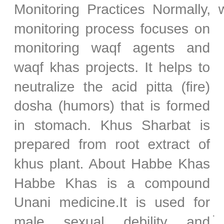Monitoring Practices Normally, waqf monitoring process focuses on monitoring waqf agents and waqf khas projects. It helps to neutralize the acid pitta (fire) dosha (humors) that is formed in stomach. Khus Sharbat is prepared from root extract of khus plant. About Habbe Khas Habbe Khas is a compound Unani medicine.It is used for male sexual debility and vigour.It removes weakness after coitus and regain energy quickly.It is also give strength to all vital organ and make them healthy.It is used for muscular health and nervous tonic. -
.